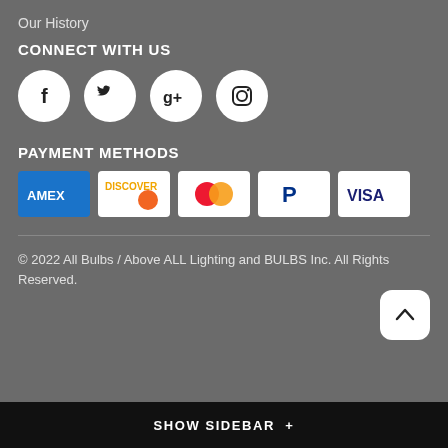Our History
CONNECT WITH US
[Figure (infographic): Four social media icon circles: Facebook (f), Twitter (bird), Google+ (g+), Instagram (camera)]
PAYMENT METHODS
[Figure (infographic): Five payment method card icons: American Express (AMEX, blue), Discover (orange gradient), Mastercard (red/orange circles), PayPal (P logo), Visa (blue text)]
© 2022 All Bulbs / Above ALL Lighting and BULBS Inc. All Rights Reserved.
SHOW SIDEBAR +